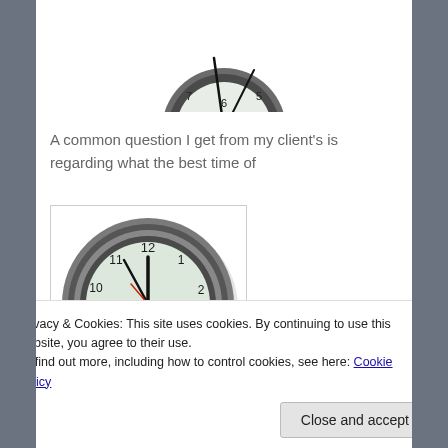[Figure (photo): Top portion of a round analog wall clock with dark metallic frame, showing numbers 5, 6, 7 at bottom and clock hands.]
A common question I get from my client's is regarding what the best time of
[Figure (photo): Round analog wall clock with dark metallic frame showing numbers 9, 10, 11, 12, 1, 2, 3 and clock hands pointing approximately to 12:58.]
day is to exercise. As a general rule, I would tend to
Privacy & Cookies: This site uses cookies. By continuing to use this website, you agree to their use.
To find out more, including how to control cookies, see here: Cookie Policy
Close and accept